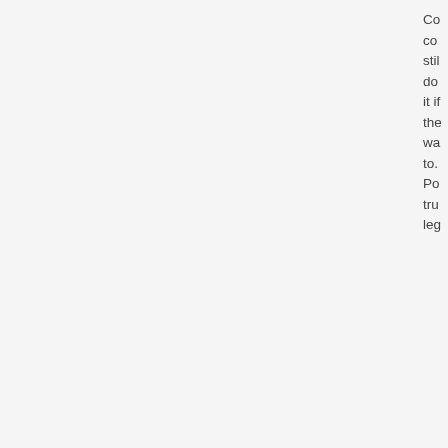Co co stil do it if the wa to. Po tru leg
[Figure (illustration): Flag of Austria-Bohemia-Hungary: red and white horizontal stripes on left, green background with red stripes and crowned figure on right, golden crowns on top]
Austria-Bohemia-Hungary
Postmaster of the Fleet
Posts: 21756
Founded: Jun 28, 2011
Civil Rights Lovefest
by Austria-Bohemia-Hungary » Wed Dec 01, 2021 11:08 pm